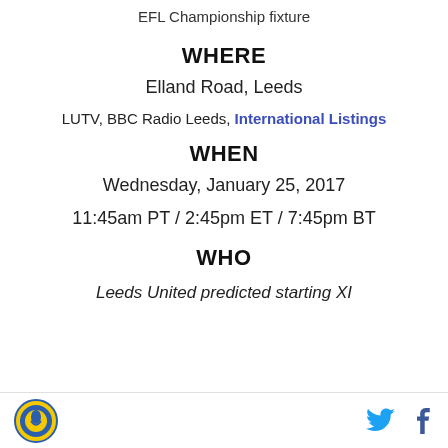EFL Championship fixture
WHERE
Elland Road, Leeds
LUTV, BBC Radio Leeds, International Listings
WHEN
Wednesday, January 25, 2017
11:45am PT / 2:45pm ET / 7:45pm BT
WHO
Leeds United predicted starting XI